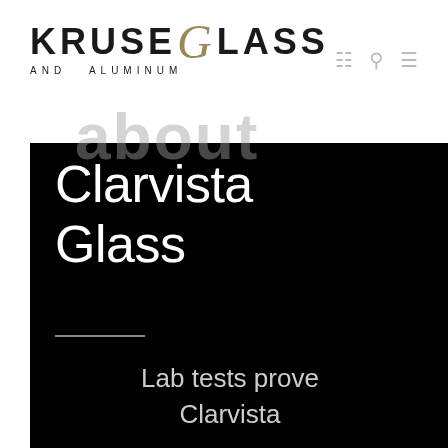[Figure (logo): Kruse Glass and Aluminum logo with stylized italic G in gold/tan color]
about Clarvista Glass
Lab tests prove Clarvista